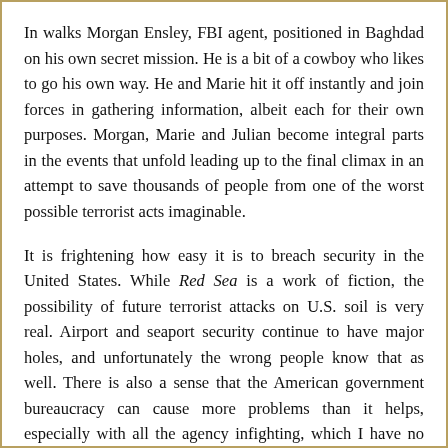In walks Morgan Ensley, FBI agent, positioned in Baghdad on his own secret mission. He is a bit of a cowboy who likes to go his own way. He and Marie hit it off instantly and join forces in gathering information, albeit each for their own purposes. Morgan, Marie and Julian become integral parts in the events that unfold leading up to the final climax in an attempt to save thousands of people from one of the worst possible terrorist acts imaginable.
It is frightening how easy it is to breach security in the United States. While Red Sea is a work of fiction, the possibility of future terrorist attacks on U.S. soil is very real. Airport and seaport security continue to have major holes, and unfortunately the wrong people know that as well. There is also a sense that the American government bureaucracy can cause more problems than it helps, especially with all the agency infighting, which I have no doubt exists. The novel points to a gap in knowledge and intelligence by the American people of what we are up against and the lack of willingness to cooperate with others in order to become more educated and better prepared. Another area which